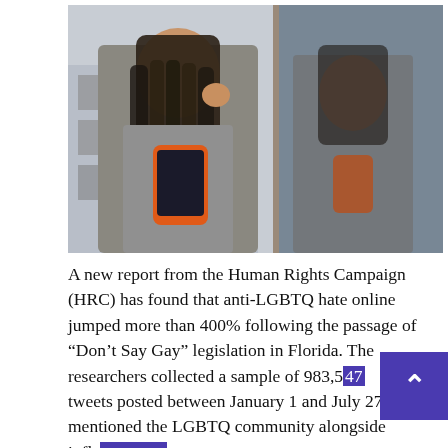[Figure (photo): A woman with long braids leaning against a window, holding an orange smartphone and touching her temple with one hand, looking distressed. Her reflection is visible in the glass. Urban building visible in background on left.]
A new report from the Human Rights Campaign (HRC) has found that anti-LGBTQ hate online jumped more than 400% following the passage of “Don’t Say Gay” legislation in Florida. The researchers collected a sample of 983,547 tweets posted between January 1 and July 27 that mentioned the LGBTQ community alongside inflammatory language like “groomer” and [...]